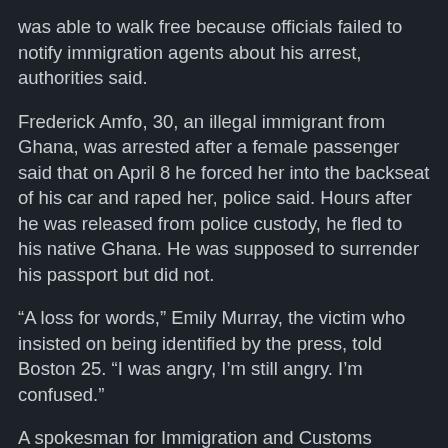was able to walk free because officials failed to notify immigration agents about his arrest, authorities said.
Frederick Amfo, 30, an illegal immigrant from Ghana, was arrested after a female passenger said that on April 8 he forced her into the backseat of his car and raped her, police said. Hours after he was released from police custody, he fled to his native Ghana. He was supposed to surrender his passport but did not.
“A loss for words,” Emily Murray, the victim who insisted on being identified by the press, told Boston 25. “I was angry, I’m still angry. I’m confused.”
A spokesman for Immigration and Customs Enforcement told Boston 25 that a federal immigration detainer should have been placed on Amfo. Weymouth police claimed it forwarded the detainer to Quincy District Court.